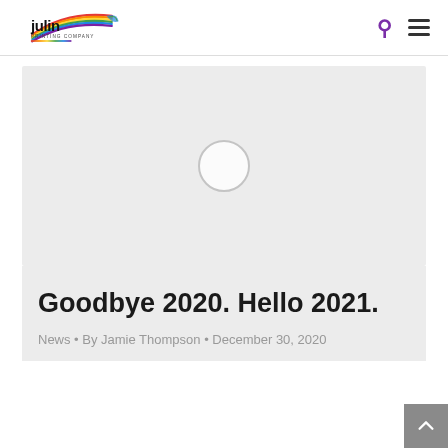Julin Printing Company
[Figure (photo): Hero image placeholder with a light gray background and a faint circle icon in the center]
Goodbye 2020. Hello 2021.
News • By Jamie Thompson • December 30, 2020